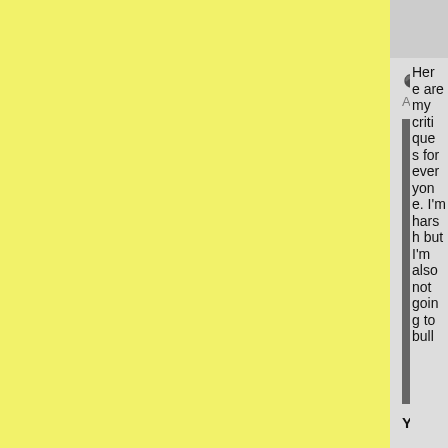[Figure (screenshot): A forum/social media post screenshot. Left side is yellow background. Right side shows a post by user HiddenGecko dated Apr 15, 2007 with a black-and-white photo of a man with a mohawk looking intense (resembling Travis Bickle from Taxi Driver), followed by bold text: 'You think I'm really going to read this shit?' Further right, partially visible text reads: 'Here are my critiques for everyone. I'm harsh but I'm also not going to bull']